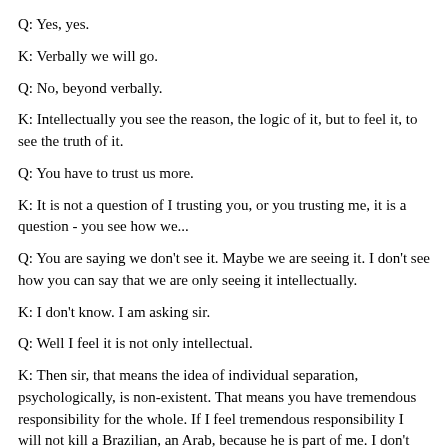Q: Yes, yes.
K: Verbally we will go.
Q: No, beyond verbally.
K: Intellectually you see the reason, the logic of it, but to feel it, to see the truth of it.
Q: You have to trust us more.
K: It is not a question of I trusting you, or you trusting me, it is a question - you see how we...
Q: You are saying we don't see it. Maybe we are seeing it. I don't see how you can say that we are only seeing it intellectually.
K: I don't know. I am asking sir.
Q: Well I feel it is not only intellectual.
K: Then sir, that means the idea of individual separation, psychologically, is non-existent. That means you have tremendous responsibility for the whole. If I feel tremendous responsibility I will not kill a Brazilian, an Arab, because he is part of me. I don't